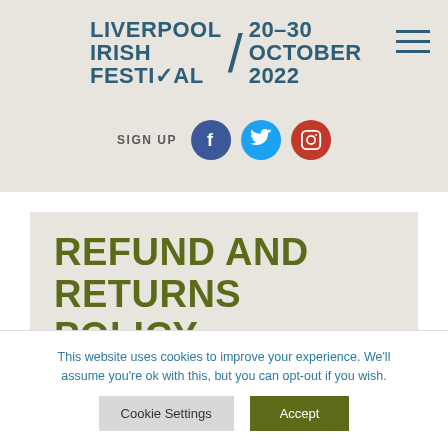Liverpool Irish Festival / 20–30 October 2022
[Figure (logo): Liverpool Irish Festival logo with text and date 20–30 October 2022]
SIGN UP
REFUND AND RETURNS POLICY
This website uses cookies to improve your experience. We'll assume you're ok with this, but you can opt-out if you wish.
Cookie Settings | Accept